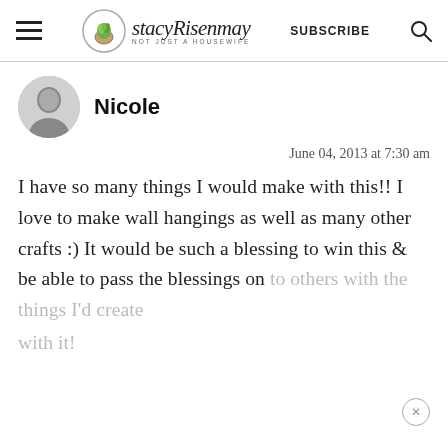StacyRisenmay — NOT JUST A HOUSEWIFE | SUBSCRIBE
Nicole
June 04, 2013 at 7:30 am
I have so many things I would make with this!! I love to make wall hangings as well as many other crafts :) It would be such a blessing to win this & be able to pass the blessings on to others with the things I'd create with it!